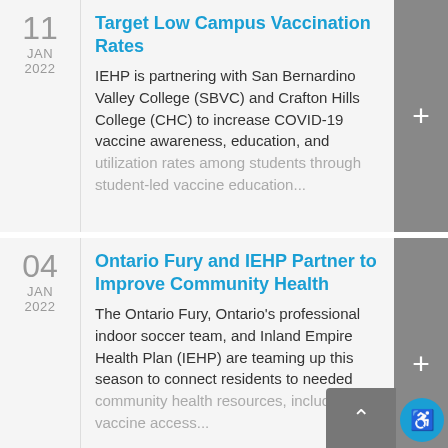Target Low Campus Vaccination Rates
IEHP is partnering with San Bernardino Valley College (SBVC) and Crafton Hills College (CHC) to increase COVID-19 vaccine awareness, education, and utilization rates among students through student-led vaccine education...
Ontario Fury and IEHP Partner to Improve Community Health
The Ontario Fury, Ontario's professional indoor soccer team, and Inland Empire Health Plan (IEHP) are teaming up this season to connect residents to needed community health resources, including vaccine access...
Public Notice for the Regular...